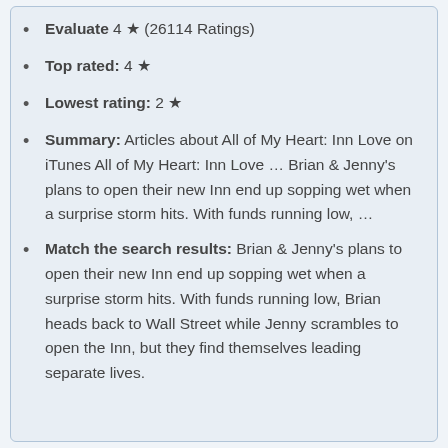Evaluate 4 ★ (26114 Ratings)
Top rated: 4 ★
Lowest rating: 2 ★
Summary: Articles about All of My Heart: Inn Love on iTunes All of My Heart: Inn Love … Brian & Jenny's plans to open their new Inn end up sopping wet when a surprise storm hits. With funds running low, …
Match the search results: Brian & Jenny's plans to open their new Inn end up sopping wet when a surprise storm hits. With funds running low, Brian heads back to Wall Street while Jenny scrambles to open the Inn, but they find themselves leading separate lives.